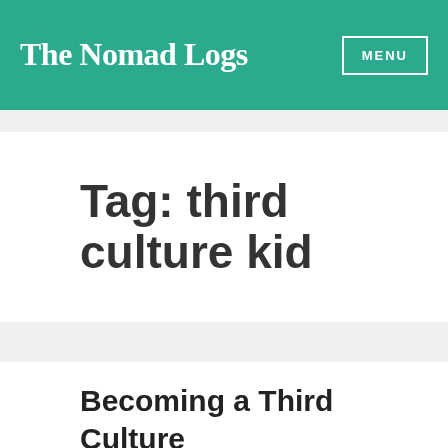The Nomad Logs
Tag: third culture kid
Becoming a Third Culture Mother: how to raise a TCK ?